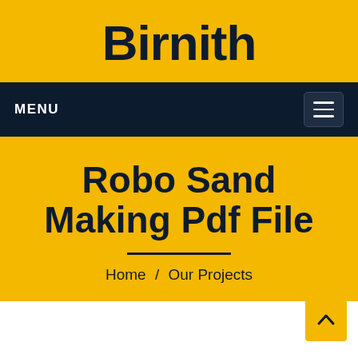Birnith
MENU
Robo Sand Making Pdf File
Home  /  Our Projects